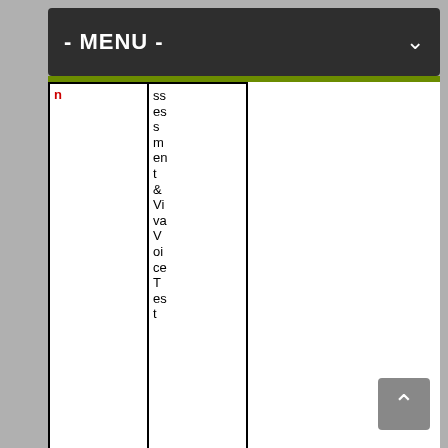- MENU -
| Column 1 | Column 2 |
| --- | --- |
| n | ssessment & Viva Voice Test |
| Apply Mode | Online |
| Job | Odish |
[Figure (other): Scroll to top button with upward arrow chevron, grey background]